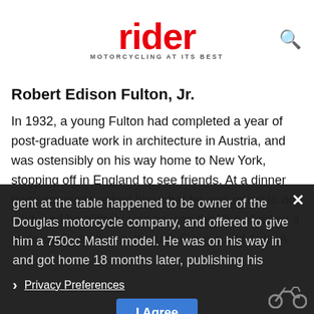rider — MOTORCYCLING AT ITS BEST
Robert Edison Fulton, Jr.
In 1932, a young Fulton had completed a year of post-graduate work in architecture in Austria, and was ostensibly on his way home to New York, stopping off in England to see friends. At a dinner party someone asked him what he was going to do next, and he blithely said he was thinking of riding a motorcycle eastward, through Europe and Asia. A gent at the table happened to be owner of the Douglas motorcycle company, and offered to give him a 750cc Mastif model. He was on his way in and got home 18 months later, publishing his
Privacy Preferences | I Agree